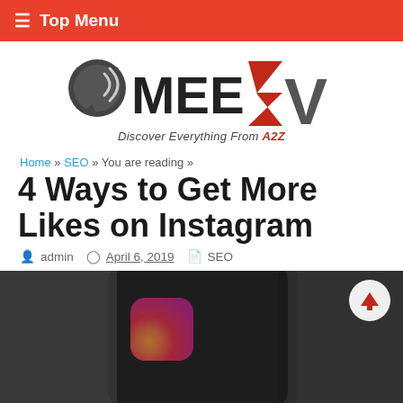≡ Top Menu
[Figure (logo): MEERV logo with chat bubble icon and tagline 'Discover Everything From A2Z']
Home » SEO » You are reading »
4 Ways to Get More Likes on Instagram
admin   April 6, 2019   SEO
[Figure (photo): Close-up photo of a smartphone showing the Instagram app icon, with a red up-arrow scroll-to-top button overlaid in the top right corner]